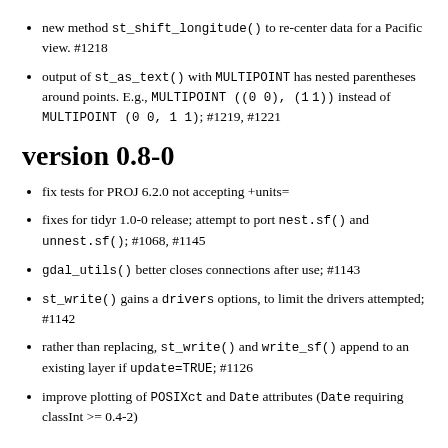new method st_shift_longitude() to re-center data for a Pacific view. #1218
output of st_as_text() with MULTIPOINT has nested parentheses around points. E.g., MULTIPOINT ((0 0), (1 1)) instead of MULTIPOINT (0 0, 1 1); #1219, #1221
version 0.8-0
fix tests for PROJ 6.2.0 not accepting +units=
fixes for tidyr 1.0-0 release; attempt to port nest.sf() and unnest.sf(); #1068, #1145
gdal_utils() better closes connections after use; #1143
st_write() gains a drivers options, to limit the drivers attempted; #1142
rather than replacing, st_write() and write_sf() append to an existing layer if update=TRUE; #1126
improve plotting of POSIXct and Date attributes (Date requiring classInt >= 0.4-2)